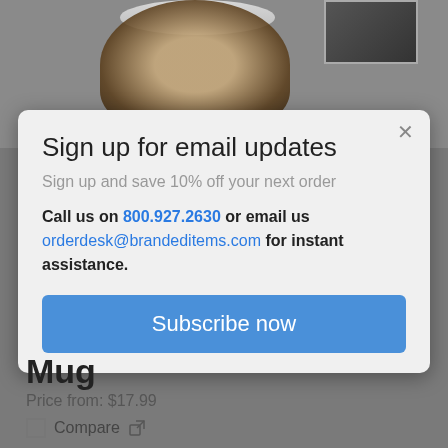[Figure (screenshot): Product page background showing a mug with cork bottom and a thumbnail image in top right corner]
Sign up for email updates
Sign up and save 10% off your next order
Call us on 800.927.2630 or email us orderdesk@brandeditems.com for instant assistance.
Subscribe now
Mug
Price from: $17.99
Compare